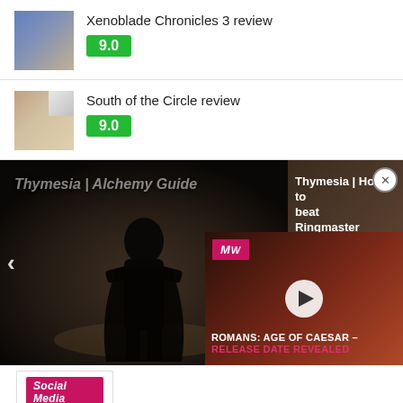Xenoblade Chronicles 3 review — 9.0
South of the Circle review — 9.0
[Figure (screenshot): Video carousel showing 'Thymesia | Alchemy Guide' and 'Thymesia | How to beat Ringmaster' with a video popup overlay for 'ROMANS: AGE OF CAESAR - RELEASE DATE REVEALED']
Social Media SUBSCRIBE